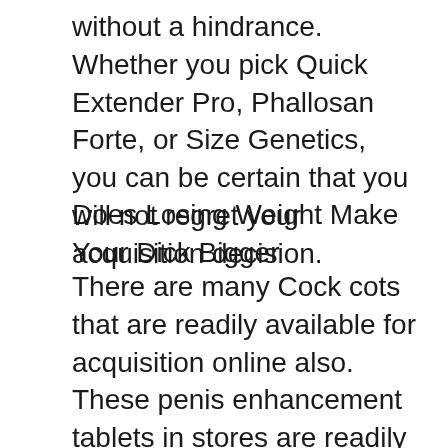without a hindrance. Whether you pick Quick Extender Pro, Phallosan Forte, or Size Genetics, you can be certain that you will not regret your acquisition decision.
Does Losing Weight Make Your Dick Bigger
There are many Cock cots that are readily available for acquisition online also. These penis enhancement tablets in stores are readily available in various stores such as online vendors as well as in some retail outlets. Many merchants of Cock cots are supplying them at a discount rate rate. The price cut costs that sellers are providing could be part of a promo or could be part of a clearance bargain. It is possible to find price cut prices on Prick stretchers that are